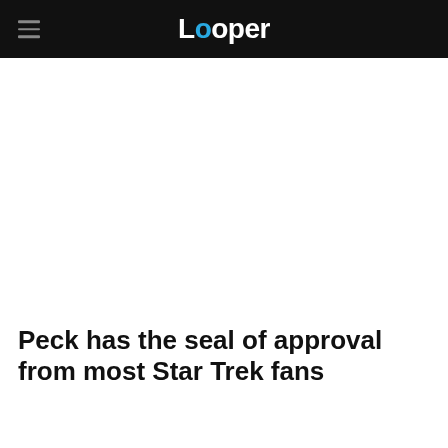Looper
Peck has the seal of approval from most Star Trek fans